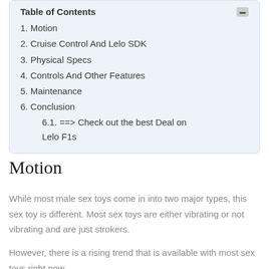1. Motion
2. Cruise Control And Lelo SDK
3. Physical Specs
4. Controls And Other Features
5. Maintenance
6. Conclusion
6.1. ==> Check out the best Deal on Lelo F1s
Motion
While most male sex toys come in into two major types, this sex toy is different. Most sex toys are either vibrating or not vibrating and are just strokers.
However, there is a rising trend that is available with most sex toys right now.